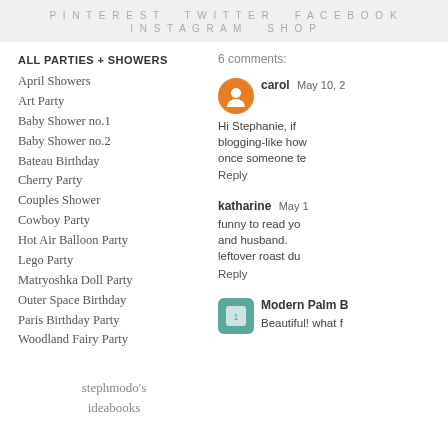PINTEREST   TWITTER   FACEBOOK   INSTAGRAM   SHOP
ALL PARTIES + SHOWERS
April Showers
Art Party
Baby Shower no.1
Baby Shower no.2
Bateau Birthday
Cherry Party
Couples Shower
Cowboy Party
Hot Air Balloon Party
Lego Party
Matryoshka Doll Party
Outer Space Birthday
Paris Birthday Party
Woodland Fairy Party
6 comments:
carol  May 10, 2
Hi Stephanie, if blogging-like how once someone te
Reply
katharine  May 1
funny to read yo and husband. leftover roast du
Reply
Modern Palm B
Beautiful! what f
stephmodo's ideabooks